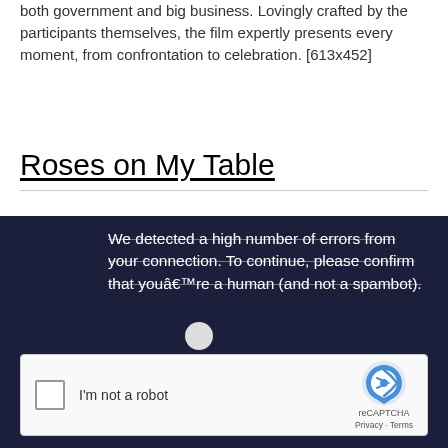both government and big business. Lovingly crafted by the participants themselves, the film expertly presents every moment, from confrontation to celebration. [613x452]
Roses on My Table
[Figure (screenshot): Dark navy blue CAPTCHA overlay with text 'We detected a high number of errors from your connection. To continue, please confirm that youâ€™re a human (and not a spambot).' and a reCAPTCHA widget with checkbox labeled 'I'm not a robot']